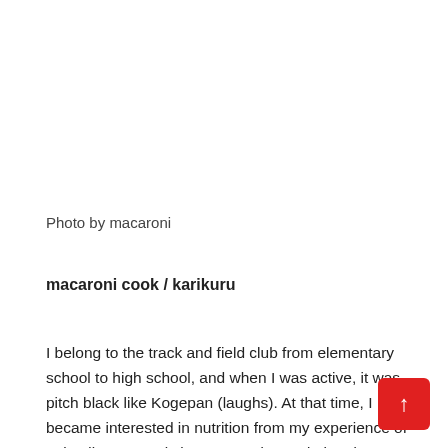Photo by macaroni
macaroni cook / karikuru
I belong to the track and field club from elementary school to high school, and when I was active, it was pitch black like Kogepan (laughs). At that time, I became interested in nutrition from my experience of strict dietary restrictions every day and aimed to become a dietitian. After graduating, worked as a dietitian at a welfare facility for 5 years. After that, as a macaroni cook, I am developing recipes focusing on simple s… and side dishes that can be made with familiar